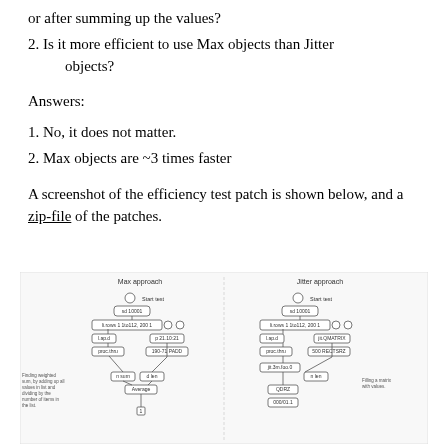or after summing up the values?
2. Is it more efficient to use Max objects than Jitter objects?
Answers:
1. No, it does not matter.
2. Max objects are ~3 times faster
A screenshot of the efficiency test patch is shown below, and a zip-file of the patches.
[Figure (screenshot): Screenshot of efficiency test patch showing two side-by-side Max/MSP patches labeled 'Max approach' and 'Jitter approach', with signal flow diagrams including Start test buttons, counter objects, and matrix operations. A text annotation reads 'Finding weighted sum, by adding up all values in list and dividing by the number of items in the list.' and 'Filling a matrix with values.']